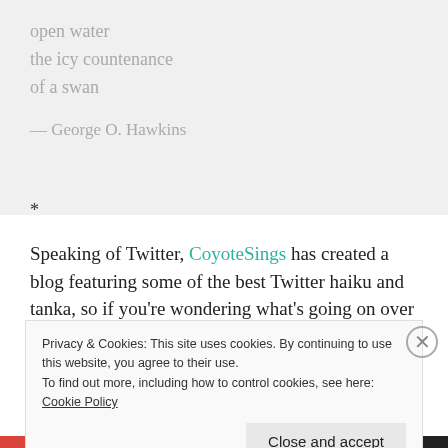open water
the icy countenance
of a swan
— George O. Hawkins
*
Speaking of Twitter, CoyoteSings has created a blog featuring some of the best Twitter haiku and tanka, so if you're wondering what's going on over there on Twitter
Privacy & Cookies: This site uses cookies. By continuing to use this website, you agree to their use.
To find out more, including how to control cookies, see here: Cookie Policy
Close and accept